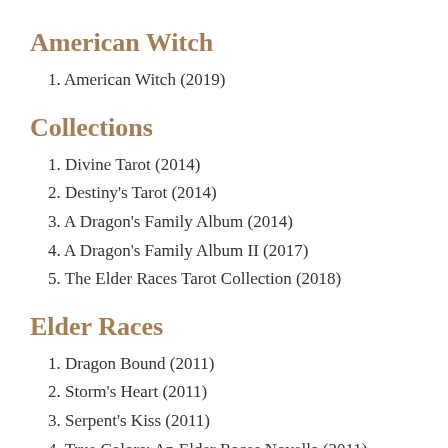American Witch
1. American Witch (2019)
Collections
1. Divine Tarot (2014)
2. Destiny's Tarot (2014)
3. A Dragon's Family Album (2014)
4. A Dragon's Family Album II (2017)
5. The Elder Races Tarot Collection (2018)
Elder Races
1. Dragon Bound (2011)
2. Storm's Heart (2011)
3. Serpent's Kiss (2011)
4. True Colors: An Elder Races Novella (2011)
5. Oracle's Moon (2012)
6. Natural Evil: An Elder Races Novella (2012)